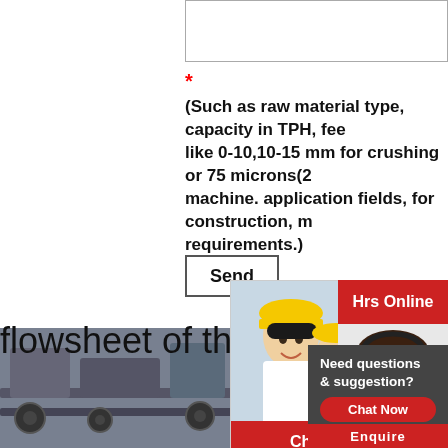* (Such as raw material type, capacity in TPH, feed size like 0-10,10-15 mm for crushing or 75 microns(2... machine. application fields, for construction, m... requirements.)
Send
[Figure (screenshot): Live chat popup with workers in yellow hard hats, red LIVE CHAT title, Click for a Free Consultation subtitle, Chat now and Chat later buttons]
[Figure (screenshot): 24 Hrs Online banner with customer support agent wearing headset]
flowsheet of the penicillin :
[Figure (photo): Industrial conveyor belt machinery photo]
Penicillin P... Process Fl... chart ...
[Figure (screenshot): Need questions & suggestion? Chat Now button overlay]